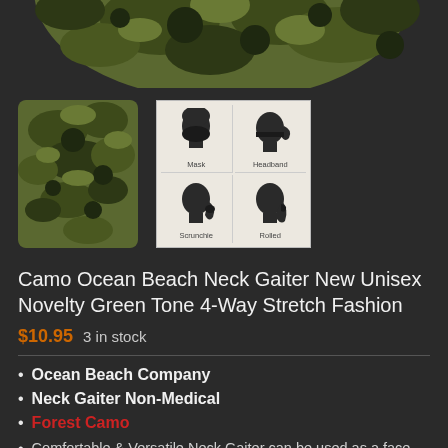[Figure (photo): Top portion of a camo neck gaiter product image, showing forest camouflage pattern in green tones, partially cropped at top]
[Figure (photo): Two product thumbnail images: left shows the forest camo neck gaiter folded, right shows a diagram grid with 4 usage illustrations: Mask, Headband, Scrunchie, Rolled]
Camo Ocean Beach Neck Gaiter New Unisex Novelty Green Tone 4-Way Stretch Fashion
$10.95  3 in stock
Ocean Beach Company
Neck Gaiter Non-Medical
Forest Camo
Comfortable & Versatile Neck Gaiter can be used as a face cover, headband, hood, sun guard, wristband,